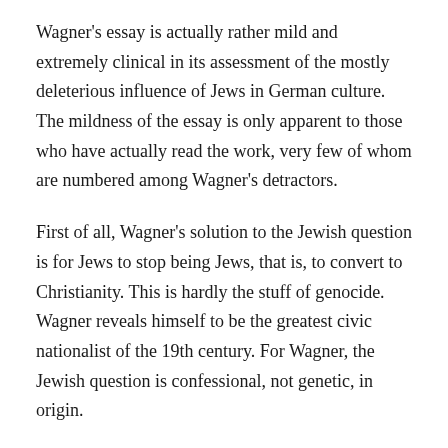Wagner's essay is actually rather mild and extremely clinical in its assessment of the mostly deleterious influence of Jews in German culture. The mildness of the essay is only apparent to those who have actually read the work, very few of whom are numbered among Wagner's detractors.
First of all, Wagner's solution to the Jewish question is for Jews to stop being Jews, that is, to convert to Christianity. This is hardly the stuff of genocide. Wagner reveals himself to be the greatest civic nationalist of the 19th century. For Wagner, the Jewish question is confessional, not genetic, in origin.
And what really is Wagner's problem with the Jews? It is, quite simply, that the Jews have not truly assimilated into German culture. Wagner acknowledges the talented